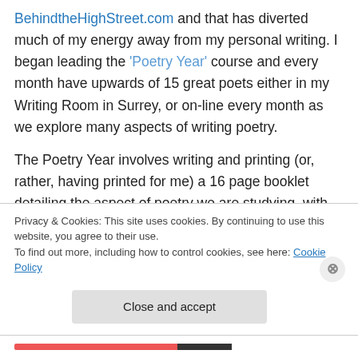BehindtheHighStreet.com and that has diverted much of my energy away from my personal writing. I began leading the 'Poetry Year' course and every month have upwards of 15 great poets either in my Writing Room in Surrey, or on-line every month as we explore many aspects of writing poetry.

The Poetry Year involves writing and printing (or, rather, having printed for me) a 16 page booklet detailing the aspect of poetry we are studying, with examples and exercises so that we can attempt to integrate what we
Privacy & Cookies: This site uses cookies. By continuing to use this website, you agree to their use.
To find out more, including how to control cookies, see here: Cookie Policy
Close and accept